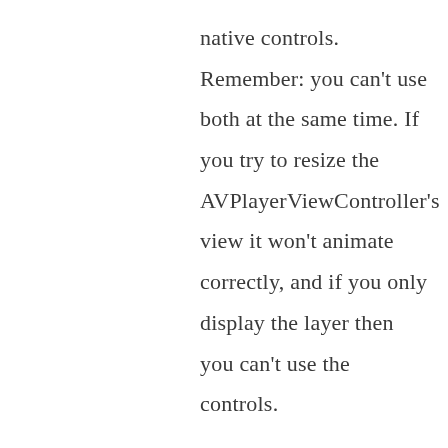native controls. Remember: you can't use both at the same time. If you try to resize the AVPlayerViewController's view it won't animate correctly, and if you only display the layer then you can't use the controls.